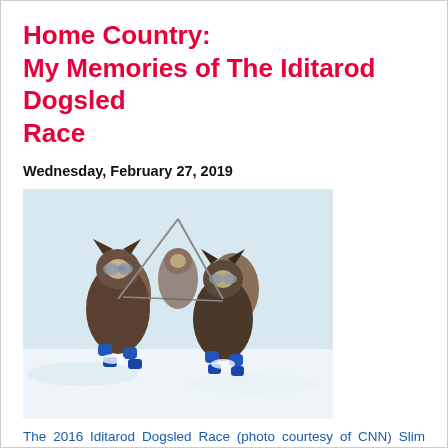Home Country:
My Memories of The Iditarod Dogsled Race
Wednesday, February 27, 2019
[Figure (photo): Sled dogs running in the 2016 Iditarod Dogsled Race, wearing blue booties and goggles, running through snow]
The 2016 Iditarod Dogsled Race (photo courtesy of CNN) Slim Randles | CNBNews Contributor This coming Saturday, I'll probably be right here in New Mexico. Well, most of me will. But my heart and my wishes and part of my soul will be many miles from here, up in Anchorage, Alaska. Anchorage. First Saturday in March.